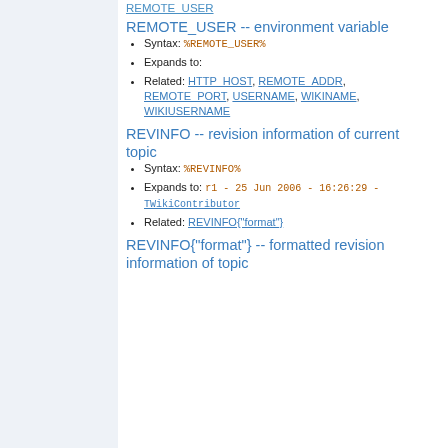REMOTE_USER
REMOTE_USER -- environment variable
Syntax: %REMOTE_USER%
Expands to:
Related: HTTP_HOST, REMOTE_ADDR, REMOTE_PORT, USERNAME, WIKINAME, WIKIUSERNAME
REVINFO -- revision information of current topic
Syntax: %REVINFO%
Expands to: r1 - 25 Jun 2006 - 16:26:29 - TWikiContributor
Related: REVINFO{"format"}
REVINFO{"format"} -- formatted revision information of topic